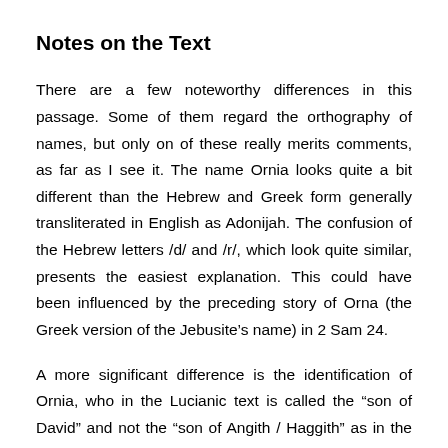Notes on the Text
There are a few noteworthy differences in this passage. Some of them regard the orthography of names, but only on of these really merits comments, as far as I see it. The name Ornia looks quite a bit different than the Hebrew and Greek form generally transliterated in English as Adonijah. The confusion of the Hebrew letters /d/ and /r/, which look quite similar, presents the easiest explanation. This could have been influenced by the preceding story of Orna (the Greek version of the Jebusite’s name) in 2 Sam 24.
A more significant difference is the identification of Ornia, who in the Lucianic text is called the “son of David” and not the “son of Angith / Haggith” as in the other versions.